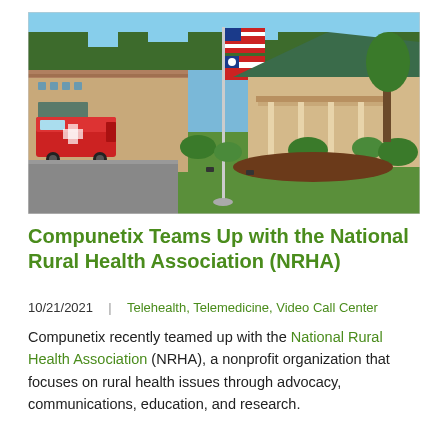[Figure (photo): Aerial view of a rural hospital building with a green roof, an American flag and a Georgia state flag on a flagpole, surrounded by green lawn and trees, with a red ambulance parked near the entrance on the left side.]
Compunetix Teams Up with the National Rural Health Association (NRHA)
10/21/2021  |  Telehealth, Telemedicine, Video Call Center
Compunetix recently teamed up with the National Rural Health Association (NRHA), a nonprofit organization that focuses on rural health issues through advocacy, communications, education, and research.